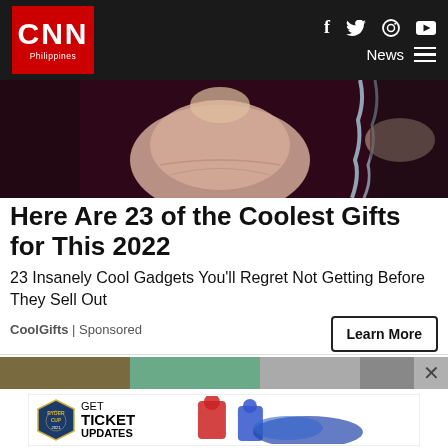CNN Philippines | News
[Figure (photo): Close-up photo of a finger touching water flowing from a faucet, dark purple/maroon background]
Here Are 23 of the Coolest Gifts for This 2022
23 Insanely Cool Gadgets You'll Regret Not Getting Before They Sell Out
CoolGifts | Sponsored
[Figure (photo): Partial view of a second article image showing outdoor/sports scene]
[Figure (infographic): Ryder Cup advertisement banner: GET TICKET UPDATES with Ryder Cup logo and golfers in red and blue uniforms]